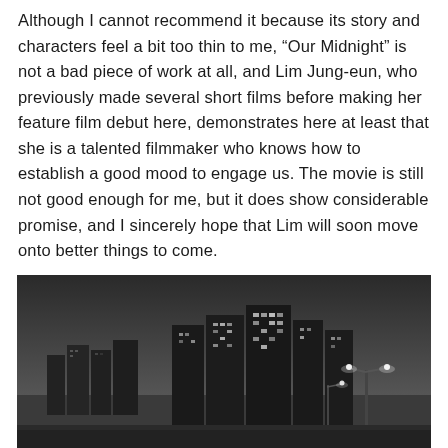Although I cannot recommend it because its story and characters feel a bit too thin to me, “Our Midnight” is not a bad piece of work at all, and Lim Jung-eun, who previously made several short films before making her feature film debut here, demonstrates here at least that she is a talented filmmaker who knows how to establish a good mood to engage us. The movie is still not good enough for me, but it does show considerable promise, and I sincerely hope that Lim will soon move onto better things to come.
[Figure (photo): Black and white nighttime cityscape showing tall skyscrapers and high-rise buildings illuminated against a dark sky, with street lights visible in the foreground right.]